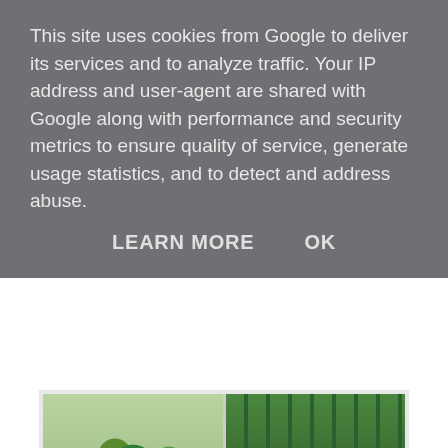This site uses cookies from Google to deliver its services and to analyze traffic. Your IP address and user-agent are shared with Google along with performance and security metrics to ensure quality of service, generate usage statistics, and to detect and address abuse.
LEARN MORE    OK
[Figure (photo): Two-panel photo: left panel shows potted plants and green foliage; right panel shows a green metal fence or trellis with garden in background.]
It was quite a focussed expedition to the FCBofS, because he was with me and I had emotionally blackmailed persuaded him to come entirely based on the premise that we were going for plants.
However I did manage one or two small purchases. My technique is to dart very quickly when he is not paying attention. I make my purchase with ruthless efficiency, then enjoy watching his bemused expression as he realises he